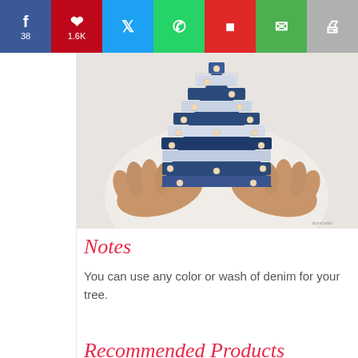Social sharing bar: Facebook 38, Pinterest 1.6K, Twitter, WhatsApp, Flipboard, Email, Print
[Figure (photo): Hands holding a denim Christmas tree decorated with pearl beads, layered with denim strips in varying shades of blue and white]
Notes
You can use any color or wash of denim for your tree.
Recommended Products